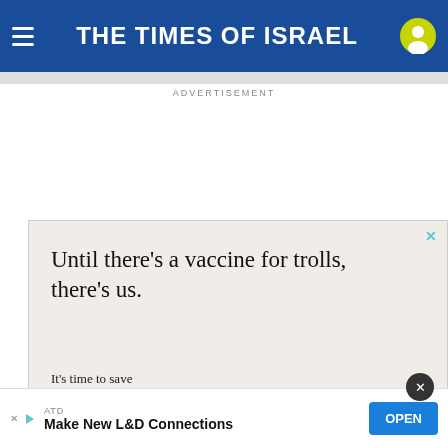THE TIMES OF ISRAEL
ADVERTISEMENT
[Figure (screenshot): OpenWeb advertisement: 'Until there's a vaccine for trolls, there's us. It's time to save online conversation. Learn more' with OpenWeb logo]
AdChoices  Sponsored
ATD Make New L&D Connections  OPEN